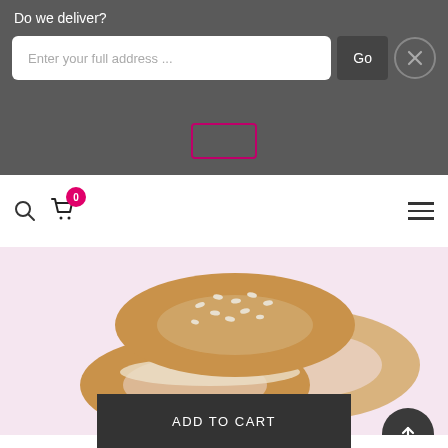Do we deliver?
Enter your full address ...
Go
[Figure (photo): Large gluten-free bagels on a pink background — two halved bagels and one whole bagel with sesame seeds on top]
Large Gluten-Free Bagels
+ Add to cart
ADD TO CART